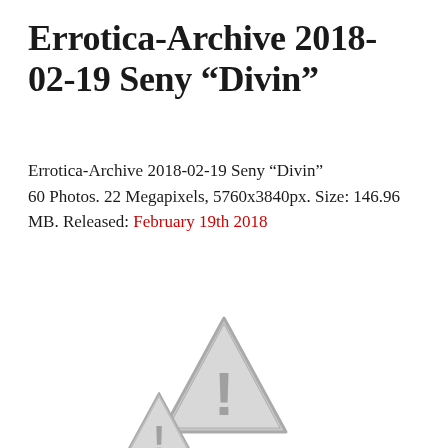Errotica-Archive 2018-02-19 Seny “Divin”
Errotica-Archive 2018-02-19 Seny “Divin”
60 Photos. 22 Megapixels, 5760x3840px. Size: 146.96 MB. Released: February 19th 2018
[Figure (other): Warning triangle icon with exclamation mark, grey colored, image unavailable placeholder]
[Figure (other): Warning triangle icon with exclamation mark, grey colored, image unavailable placeholder (partially visible at bottom)]